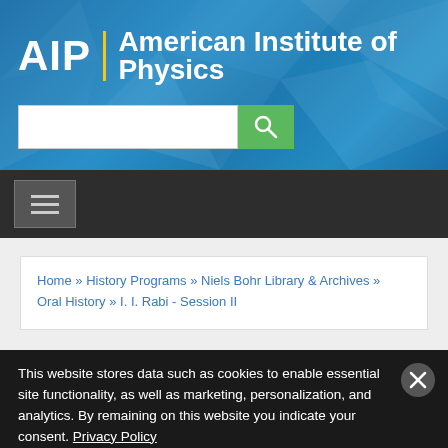[Figure (logo): AIP American Institute of Physics logo with search bar on blue geometric background]
[Figure (screenshot): Dark navigation bar with hamburger menu button]
Home » History Programs » Niels Bohr Library & Archives » Oral History » I. I. Rabi - Session II
This website stores data such as cookies to enable essential site functionality, as well as marketing, personalization, and analytics. By remaining on this website you indicate your consent. Privacy Policy